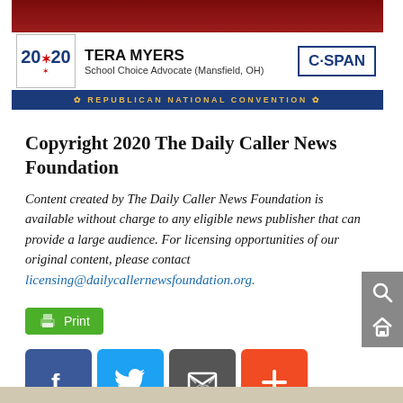[Figure (screenshot): C-SPAN broadcast screenshot showing Tera Myers, School Choice Advocate (Mansfield, OH) at the Republican National Convention 2020]
Copyright 2020 The Daily Caller News Foundation
Content created by The Daily Caller News Foundation is available without charge to any eligible news publisher that can provide a large audience. For licensing opportunities of our original content, please contact licensing@dailycallernewsfoundation.org.
[Figure (screenshot): Print button (green), Facebook, Twitter, Email share, and plus share buttons]
[Figure (screenshot): Sidebar with search and home icons on gray background]